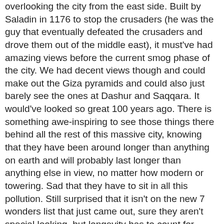overlooking the city from the east side. Built by Saladin in 1176 to stop the crusaders (he was the guy that eventually defeated the crusaders and drove them out of the middle east), it must've had amazing views before the current smog phase of the city. We had decent views though and could make out the Giza pyramids and could also just barely see the ones at Dashur and Saqqara. It would've looked so great 100 years ago. There is something awe-inspiring to see those things there behind all the rest of this massive city, knowing that they have been around longer than anything on earth and will probably last longer than anything else in view, no matter how modern or towering. Sad that they have to sit in all this pollution. Still surprised that it isn't on the new 7 wonders list that just came out, sure they aren't special looking, but longevity has to count for something.......
We also went to the dead city in the northern cemetary area. People living in and around all these tombs and crypts but it's not like you imagine. No vampires, ghouls or Michael Jackson's Thriller but if you ignore the graves you'd think it would be anywhere else. In fact, it is so mainstream now that they even have a post office. Must be kind of strange to send a letter to a cemetary.....
This morning we finally made it to the friday market and at